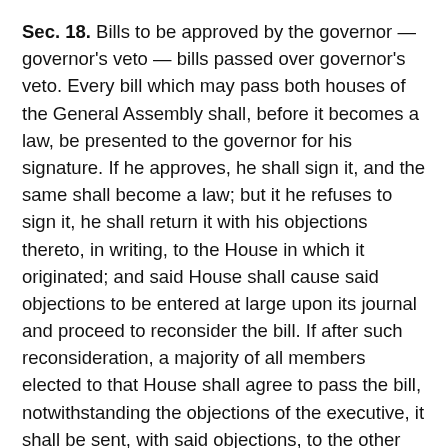Sec. 18. Bills to be approved by the governor — governor's veto — bills passed over governor's veto. Every bill which may pass both houses of the General Assembly shall, before it becomes a law, be presented to the governor for his signature. If he approves, he shall sign it, and the same shall become a law; but it he refuses to sign it, he shall return it with his objections thereto, in writing, to the House in which it originated; and said House shall cause said objections to be entered at large upon its journal and proceed to reconsider the bill. If after such reconsideration, a majority of all members elected to that House shall agree to pass the bill, notwithstanding the objections of the executive, it shall be sent, with said objections, to the other House, by which it shall be likewise reconsidered. If approved by a majority of the whole number elected to that House, it shall become a law. The votes of both houses shall be determined by yeas and nays, and the names of